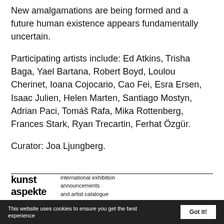New amalgamations are being formed and a future human existence appears fundamentally uncertain.
Participating artists include: Ed Atkins, Trisha Baga, Yael Bartana, Robert Boyd, Loulou Cherinet, Ioana Cojocario, Cao Fei, Esra Ersen, Isaac Julien, Helen Marten, Santiago Mostyn, Adrian Paci, Tomáš Rafa, Mika Rottenberg, Frances Stark, Ryan Trecartin, Ferhat Özgür.
Curator: Joa Ljungberg.
kunst aspekte   international exhibition announcements and artist catalogue
This website uses cookies to ensure you get the best experience